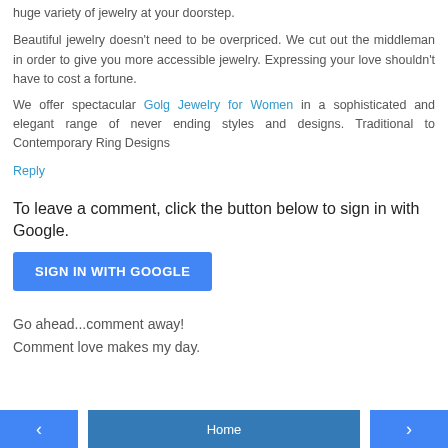huge variety of jewelry at your doorstep.
Beautiful jewelry doesn't need to be overpriced. We cut out the middleman in order to give you more accessible jewelry. Expressing your love shouldn't have to cost a fortune.
We offer spectacular Golg Jewelry for Women in a sophisticated and elegant range of never ending styles and designs. Traditional to Contemporary Ring Designs
Reply
To leave a comment, click the button below to sign in with Google.
[Figure (other): SIGN IN WITH GOOGLE button (blue)]
Go ahead...comment away!
Comment love makes my day.
< Home >